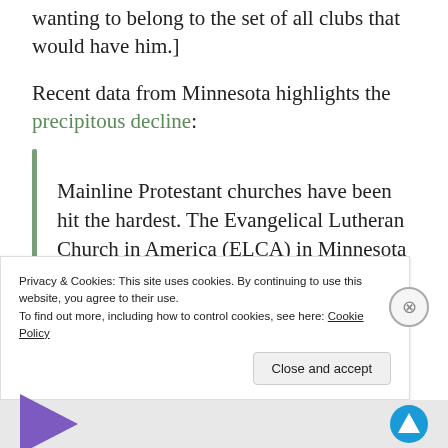wanting to belong to the set of all clubs that would have him.]
Recent data from Minnesota highlights the precipitous decline:
Mainline Protestant churches have been hit the hardest. The Evangelical Lutheran Church in America (ELCA) in Minnesota has lost almost 200,000 members since 2000 and about 150
Privacy & Cookies: This site uses cookies. By continuing to use this website, you agree to their use.
To find out more, including how to control cookies, see here: Cookie Policy
Close and accept